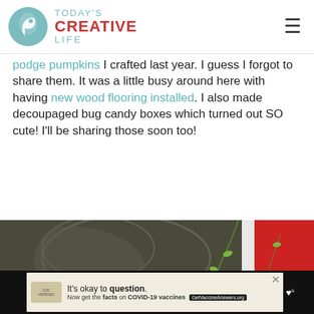TODAY'S CREATIVE LIFE
podge pumpkins I crafted last year. I guess I forgot to share them. It was a little busy around here with having new wood flooring installed. I also made decoupaged bug candy boxes which turned out SO cute! I'll be sharing those soon too!
[Figure (photo): Close-up photo of a dark bronze decorative ornamental piece with vines and small yellow-green leaves, alongside a red painted surface. Outdoor garden or door decoration.]
It's okay to question. Now get the facts on COVID-19 vaccines. GetVaccineAnswers.org